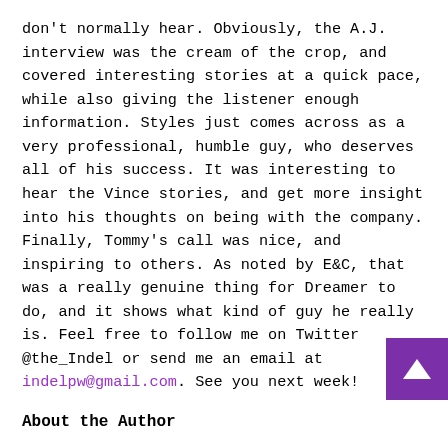don't normally hear. Obviously, the A.J. interview was the cream of the crop, and covered interesting stories at a quick pace, while also giving the listener enough information. Styles just comes across as a very professional, humble guy, who deserves all of his success. It was interesting to hear the Vince stories, and get more insight into his thoughts on being with the company. Finally, Tommy's call was nice, and inspiring to others. As noted by E&C, that was a really genuine thing for Dreamer to do, and it shows what kind of guy he really is. Feel free to follow me on Twitter @the_Indel or send me an email at indelpw@gmail.com. See you next week!
About the Author
Jeff has been a fan of professional wrestling since he was knee high to a grasshopper (little kid), after coming across the Wrestling Challenge episode after WrestleMania 7, has not looked back. His passion has led him to winning wrestling trivia contests in his city, and even won him his